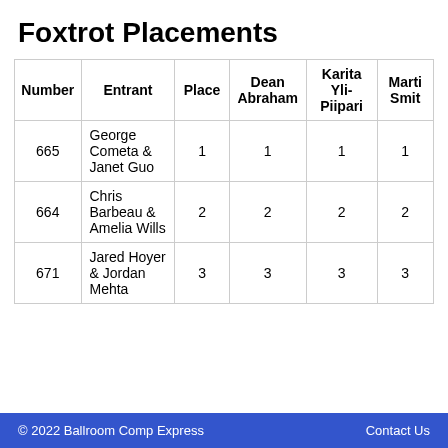Foxtrot Placements
| Number | Entrant | Place | Dean Abraham | Karita Yli-Piipari | Marti Smit |
| --- | --- | --- | --- | --- | --- |
| 665 | George Cometa & Janet Guo | 1 | 1 | 1 | 1 |
| 664 | Chris Barbeau & Amelia Wills | 2 | 2 | 2 | 2 |
| 671 | Jared Hoyer & Jordan Mehta | 3 | 3 | 3 | 3 |
© 2022 Ballroom Comp Express    Contact Us